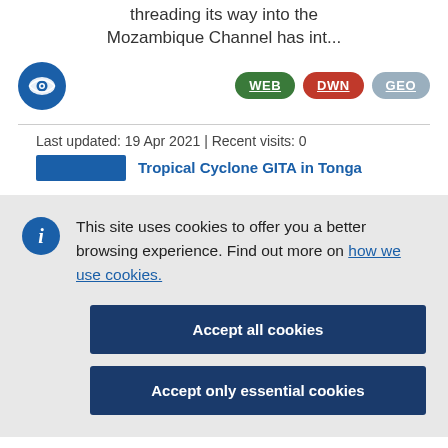threading its way into the Mozambique Channel has int...
[Figure (logo): Blue circular eye icon logo]
WEB DWN GEO
Last updated: 19 Apr 2021 | Recent visits: 0
Tropical Cyclone GITA in Tonga
This site uses cookies to offer you a better browsing experience. Find out more on how we use cookies.
Accept all cookies
Accept only essential cookies